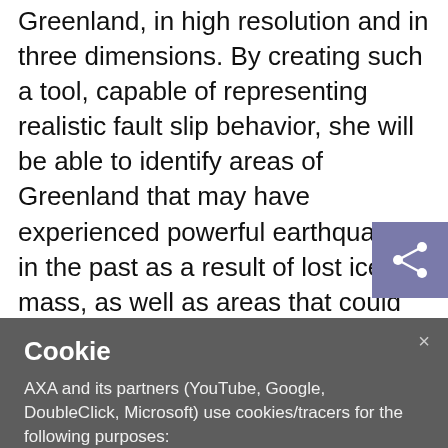Greenland, in high resolution and in three dimensions. By creating such a tool, capable of representing realistic fault slip behavior, she will be able to identify areas of Greenland that may have experienced powerful earthquakes in the past as a result of lost ice mass, as well as areas that could be at risk today as the melting
Cookie
AXA and its partners (YouTube, Google, DoubleClick, Microsoft) use cookies/tracers for the following purposes:
personalized advertising, to display advertising that is personalized according to your browsing and your profile
audience measurement, to compile statistics based on the use of our website
social media sharing, to share content on social networks or platforms present on our website
video display, to share video content on our website